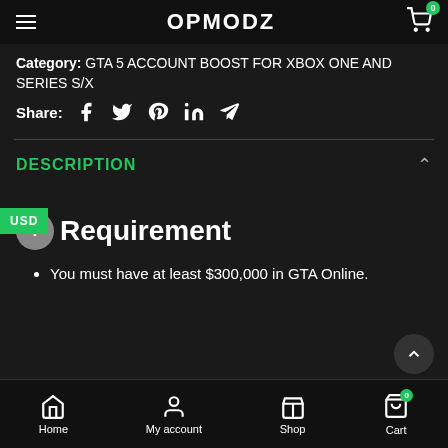OPMODZ
Category: GTA 5 ACCOUNT BOOST FOR XBOX ONE AND SERIES S/X
Share:
DESCRIPTION
+ Requirement
You must have at least $300,000 in GTA Online.
Home  My account  Shop  Cart